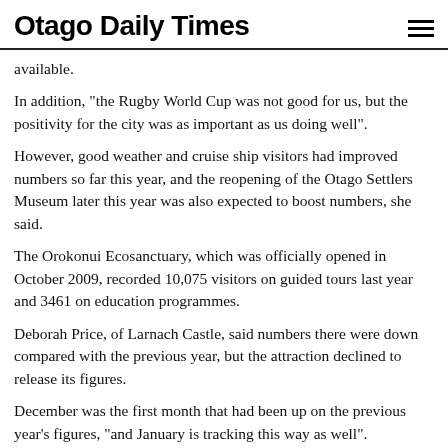Otago Daily Times
available.
In addition, "the Rugby World Cup was not good for us, but the positivity for the city was as important as us doing well".
However, good weather and cruise ship visitors had improved numbers so far this year, and the reopening of the Otago Settlers Museum later this year was also expected to boost numbers, she said.
The Orokonui Ecosanctuary, which was officially opened in October 2009, recorded 10,075 visitors on guided tours last year and 3461 on education programmes.
Deborah Price, of Larnach Castle, said numbers there were down compared with the previous year, but the attraction declined to release its figures.
December was the first month that had been up on the previous year's figures, "and January is tracking this way as well".
"Things are looking better."